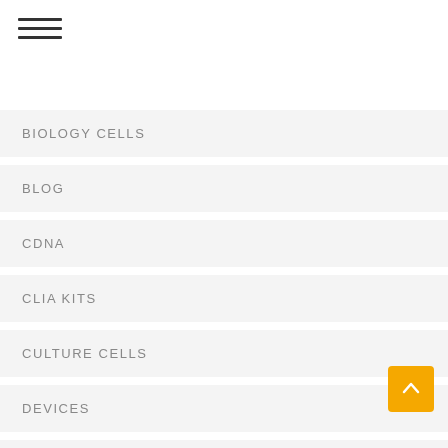[Figure (other): Hamburger menu icon with three horizontal lines]
BIOLOGY CELLS
BLOG
CDNA
CLIA KITS
CULTURE CELLS
DEVICES
DNA
DNA TEMPLATES
DNA TESTING
ELISA KITS
[Figure (other): Scroll-to-top button with upward arrow on yellow/orange background]